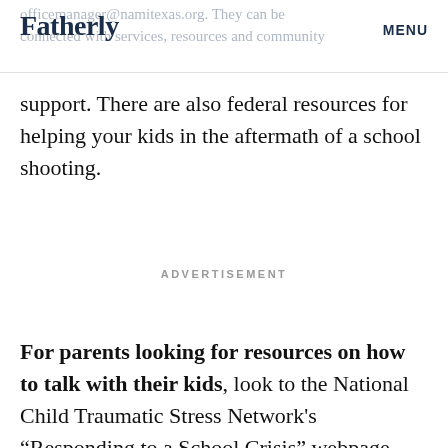Fatherly   MENU
officemanager@namitexas.org. They can be connected with services, resources and community support. There are also federal resources for helping your kids in the aftermath of a school shooting.
ADVERTISEMENT
For parents looking for resources on how to talk with their kids, look to the National Child Traumatic Stress Network's “Responding to a School Crisis” webpage. The site provides resources to